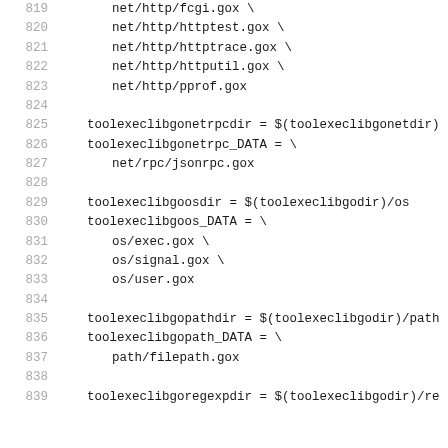819    net/http/fcgi.gox \
820    net/http/httptest.gox \
821    net/http/httptrace.gox \
822    net/http/httputil.gox \
823    net/http/pprof.gox
824
825    toolexeclibgonetrpcdir = $(toolexeclibgonetdir)
826    toolexeclibgonetrpc_DATA = \
827        net/rpc/jsonrpc.gox
828
829    toolexeclibgoosdir = $(toolexeclibgodir)/os
830    toolexeclibgoos_DATA = \
831        os/exec.gox \
832        os/signal.gox \
833        os/user.gox
834
835    toolexeclibgopathdir = $(toolexeclibgodir)/path
836    toolexeclibgopath_DATA = \
837        path/filepath.gox
838
839    toolexeclibgoregexpdir = $(toolexeclibgodir)/re